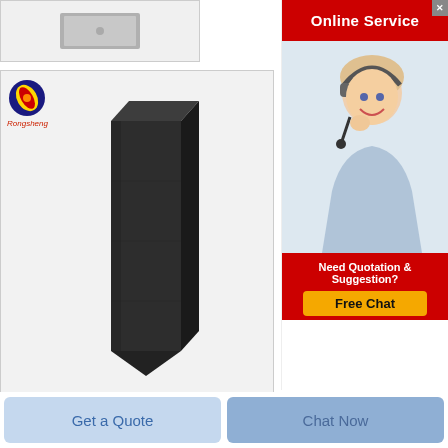[Figure (photo): Small grey product image at top]
[Figure (photo): Product photo of a dark charcoal grey firebrick in tall rectangular prism shape with Rongsheng logo]
brick identification question
AP Green Idaho straightsyes I know these are everywhere at least don t
[Figure (other): Get Price button with red border]
[Figure (other): Online Service advertisement banner with agent photo, Need Quotation & Suggestion? Free Chat button]
Get a Quote
Chat Now